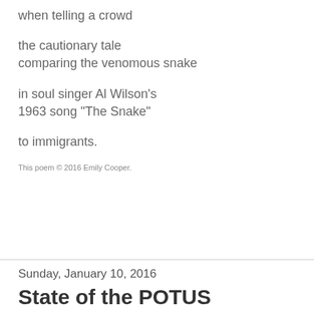when telling a crowd
the cautionary tale
comparing the venomous snake
in soul singer Al Wilson's
1963 song "The Snake"
to immigrants.
This poem © 2016 Emily Cooper.
Sunday, January 10, 2016
State of the POTUS
President Obama
will give his final